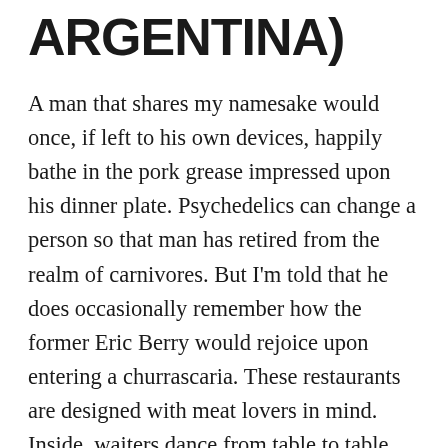ARGENTINA)
A man that shares my namesake would once, if left to his own devices, happily bathe in the pork grease impressed upon his dinner plate. Psychedelics can change a person so that man has retired from the realm of carnivores. But I'm told that he does occasionally remember how the former Eric Berry would rejoice upon entering a churrascaria. These restaurants are designed with meat lovers in mind. Inside, waiters dance from table to table with skewers of meat, slicing pieces onto customer's plates. ALL YOU CAN EAT. Pork. Lamb. Beef. Different cuts. All meat. All the time. These sort of restaurants are popular in Brazil and LA has several places where you